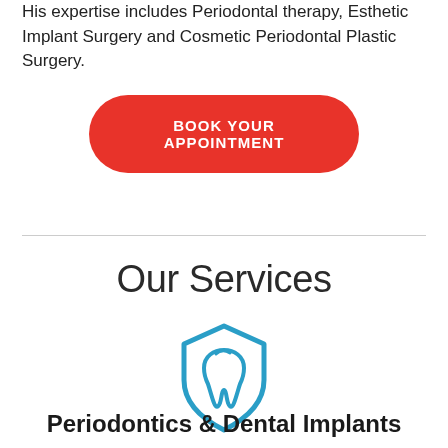His expertise includes Periodontal therapy, Esthetic Implant Surgery and Cosmetic Periodontal Plastic Surgery.
BOOK YOUR APPOINTMENT
Our Services
[Figure (illustration): Blue shield icon with a tooth outline inside it, representing dental/periodontal protection.]
Periodontics & Dental Implants